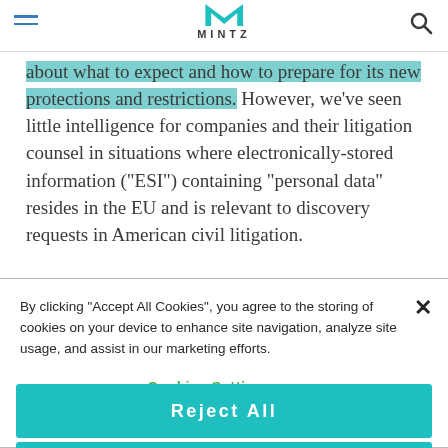MINTZ
about what to expect and how to prepare for its new protections and restrictions. However, we've seen little intelligence for companies and their litigation counsel in situations where electronically-stored information (“ESI”) containing “personal data” resides in the EU and is relevant to discovery requests in American civil litigation.
By clicking “Accept All Cookies”, you agree to the storing of cookies on your device to enhance site navigation, analyze site usage, and assist in our marketing efforts.
Cookies Settings
Reject All